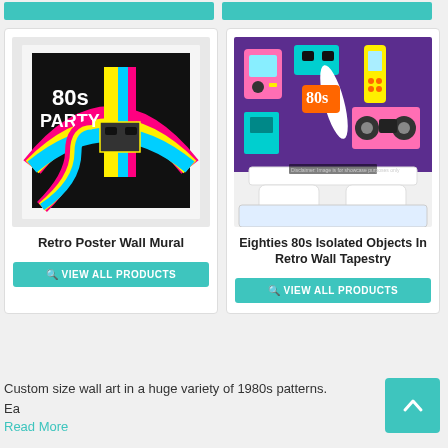[Figure (illustration): Top bar with two teal/cyan buttons partially visible at the top of the page]
[Figure (photo): Retro 80s party poster wall mural showing colorful rainbow stripes, cassette tape, and '80s PARTY' text on black background with brick wall frame]
Retro Poster Wall Mural
VIEW ALL PRODUCTS
[Figure (photo): Eighties 80s isolated objects retro wall tapestry showing colorful 80s gadgets (game boy, phone, boombox, VHS) hung on a wall above a white bed]
Eighties 80s Isolated Objects In Retro Wall Tapestry
VIEW ALL PRODUCTS
Custom size wall art in a huge variety of 1980s patterns. Ea...
Read More